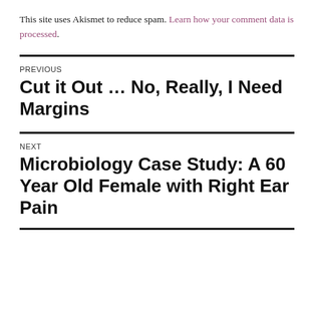This site uses Akismet to reduce spam. Learn how your comment data is processed.
PREVIOUS
Cut it Out … No, Really, I Need Margins
NEXT
Microbiology Case Study: A 60 Year Old Female with Right Ear Pain